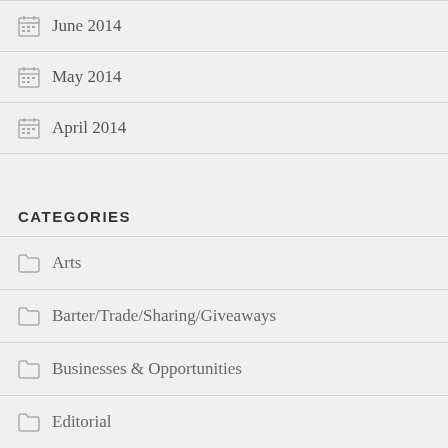June 2014
May 2014
April 2014
CATEGORIES
Arts
Barter/Trade/Sharing/Giveaways
Businesses & Opportunities
Editorial
Education